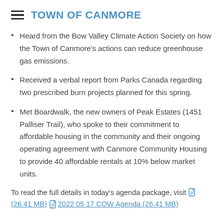TOWN OF CANMORE
Heard from the Bow Valley Climate Action Society on how the Town of Canmore's actions can reduce greenhouse gas emissions.
Received a verbal report from Parks Canada regarding two prescribed burn projects planned for this spring.
Met Boardwalk, the new owners of Peak Estates (1451 Palliser Trail), who spoke to their commitment to affordable housing in the community and their ongoing operating agreement with Canmore Community Housing to provide 40 affordable rentals at 10% below market units.
To read the full details in today's agenda package, visit [pdf icon] (26.41 MB) [pdf icon] 2022 05 17 COW Agenda (26.41 MB)